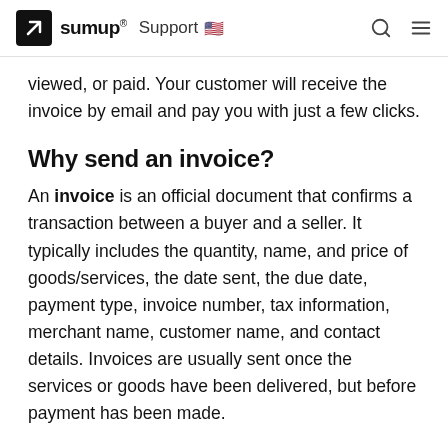SumUp Support
viewed, or paid. Your customer will receive the invoice by email and pay you with just a few clicks.
Why send an invoice?
An invoice is an official document that confirms a transaction between a buyer and a seller. It typically includes the quantity, name, and price of goods/services, the date sent, the due date, payment type, invoice number, tax information, merchant name, customer name, and contact details. Invoices are usually sent once the services or goods have been delivered, but before payment has been made.